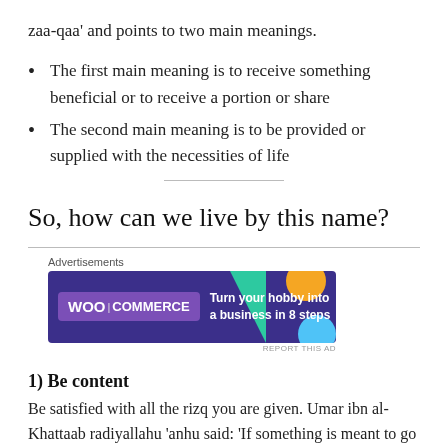zaa-qaa' and points to two main meanings.
The first main meaning is to receive something beneficial or to receive a portion or share
The second main meaning is to be provided or supplied with the necessities of life
So, how can we live by this name?
[Figure (other): WooCommerce advertisement banner: 'Turn your hobby into a business in 8 steps']
1) Be content
Be satisfied with all the rizq you are given. Umar ibn al-Khattaab radiyallahu 'anhu said: 'If something is meant to go elsewhere, it will never come on your way, but if it